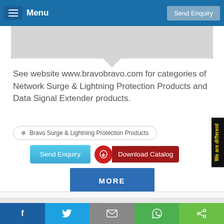Menu    Send Enquiry
[Figure (screenshot): Gray product image area with downward chevron/notch at bottom center]
See website www.bravobravo.com for categories of Network Surge & Lightning Protection Products and Data Signal Extender products.
Bravo Surge & Lightning Protection Products
Send Enquiry   Download Catalog
MORE
We are different
Customer Reviews: 0 Votes / 0 Reviews
f   t   [mail]   [whatsapp]   [share]